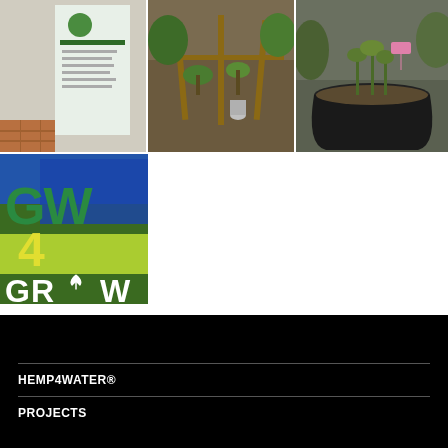[Figure (photo): Trade show banner for Hemp4Water with green logo and bullet points text, product display]
[Figure (photo): Garden bed with seedlings and wooden frame stakes in soil]
[Figure (photo): Close-up of plants in a black pot with a pink label marker]
[Figure (photo): GW4GROW branding logo with hemp leaf and blue/green design]
HEMP4WATER® PROJECTS